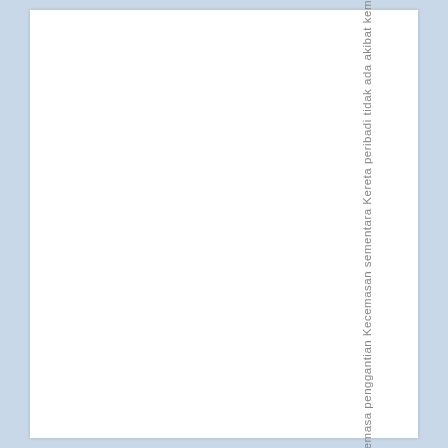: Kontrak Penggantian Automobil semasa penggantian Kecemasan sementara Kereta peribadi tidak ada akibat kem